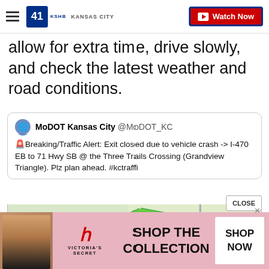41 KSHB KANSAS CITY | Watch Now
allow for extra time, drive slowly, and check the latest weather and road conditions.
MoDOT Kansas City @MoDOT_KC
🚨Breaking/Traffic Alert: Exit closed due to vehicle crash -> I-470 EB to 71 Hwy SB @ the Three Trails Crossing (Grandview Triangle). Plz plan ahead. #kctraffi
[Figure (map): Street map showing highway intersections near Three Trails Crossing / Grandview Triangle area in Kansas City, with green highlighted routes and blue markers indicating traffic/closure points.]
[Figure (infographic): Victoria's Secret advertisement banner: 'SHOP THE COLLECTION' with SHOP NOW button]